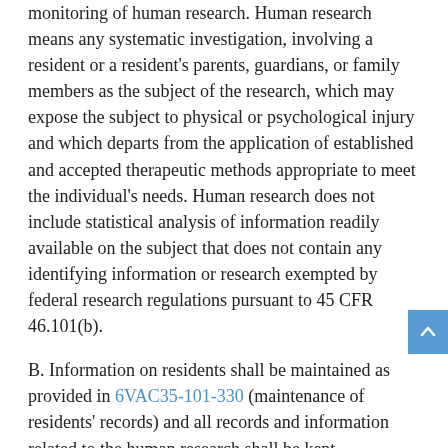monitoring of human research. Human research means any systematic investigation, involving a resident or a resident's parents, guardians, or family members as the subject of the research, which may expose the subject to physical or psychological injury and which departs from the application of established and accepted therapeutic methods appropriate to meet the individual's needs. Human research does not include statistical analysis of information readily available on the subject that does not contain any identifying information or research exempted by federal research regulations pursuant to 45 CFR 46.101(b).
B. Information on residents shall be maintained as provided in 6VAC35-101-330 (maintenance of residents' records) and all records and information related to the human research shall be kept confidential in accordance with applicable laws and regulations.
C. The procedures may require periodic progress reports of any research project and a formal final report of all